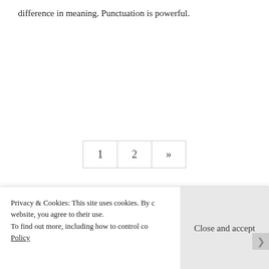difference in meaning. Punctuation is powerful.
[Figure (other): Pagination control with page buttons: 1, 2, and >> (next)]
RECENT POSTS
Privacy & Cookies: This site uses cookies. By c... website, you agree to their use.
To find out more, including how to control co... Policy
Close and accept